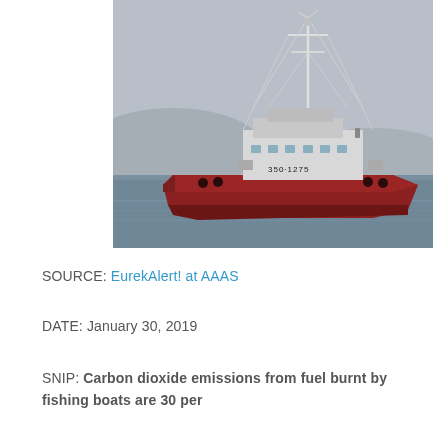[Figure (photo): A large red fishing vessel with white mast and rigging, with registration number 350-1275 visible on its hull, sailing on calm water with hazy hills in the background.]
SOURCE: EurekAlert! at AAAS
DATE: January 30, 2019
SNIP: Carbon dioxide emissions from fuel burnt by fishing boats are 30 per